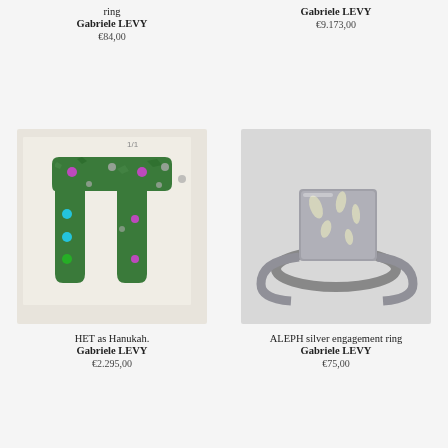ring
Gabriele LEVY
€84,00
[Figure (photo): Photo of a silver ring product]
Gabriele LEVY
€9.173,00
[Figure (photo): Photo of HET as Hanukah artwork - green sculptural Hebrew letter Chet on white background with colorful gems]
HET as Hanukah.
Gabriele LEVY
€2.295,00
[Figure (photo): Photo of ALEPH silver engagement ring - square top silver ring]
ALEPH silver engagement ring
Gabriele LEVY
€75,00